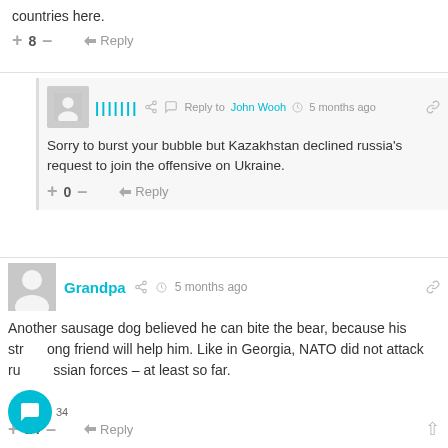countries here.
+ 8 – → Reply
Reply to John Wooh · 5 months ago
Sorry to burst your bubble but Kazakhstan declined russia's request to join the offensive on Ukraine.
+ 0 – → Reply
Grandpa · 5 months ago
Another sausage dog believed he can bite the bear, because his strong friend will help him. Like in Georgia, NATO did not attack russian forces – at least so far.
+ 14 – → Reply